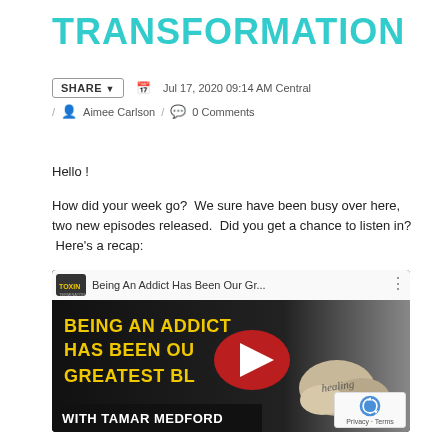TRANSFORMATION
SHARE v   Jul 17, 2020 09:14 AM Central / Aimee Carlson / 0 Comments
Hello !
How did your week go?  We sure have been busy over here, two new episodes released.  Did you get a chance to listen in?  Here's a recap:
[Figure (screenshot): YouTube video thumbnail showing 'Being An Addict Has Been Our Gr...' with yellow title text 'BEING AN ADDICT HAS BEEN OUR GREATEST BL... WITH TAMAR MEDFORD' on dark background, healing stones on right, red YouTube play button overlay]